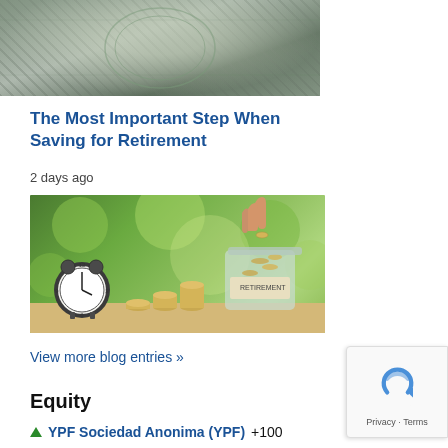[Figure (photo): Partial view of a US dollar bill in grayscale/green tones]
The Most Important Step When Saving for Retirement
2 days ago
[Figure (photo): A hand dropping a coin into a glass jar labeled RETIREMENT, with stacks of coins and an alarm clock on a green bokeh background]
View more blog entries »
Equity
▲ YPF Sociedad Anonima (YPF) +100